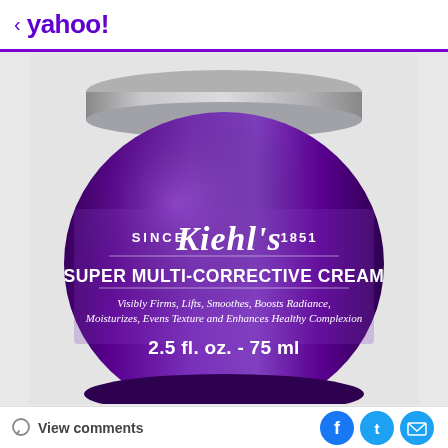< yahoo!
[Figure (photo): Kiehl's Super Multi-Corrective Cream jar, 2.5 fl. oz. - 75 ml, purple glass jar with silver lid, label reads: SINCE Kiehl's 1851, SUPER MULTI-CORRECTIVE CREAM, Visibly Firms, Lifts, Smoothes, Boosts Radiance, Moisturizes, Evens Texture and Enhances Healthy Complexion]
View comments  [Facebook] [Twitter] [Email]